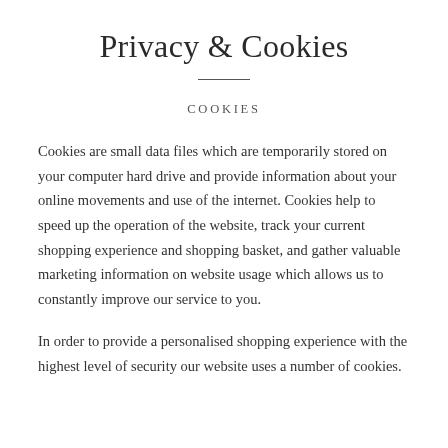Privacy & Cookies
COOKIES
Cookies are small data files which are temporarily stored on your computer hard drive and provide information about your online movements and use of the internet. Cookies help to speed up the operation of the website, track your current shopping experience and shopping basket, and gather valuable marketing information on website usage which allows us to constantly improve our service to you.
In order to provide a personalised shopping experience with the highest level of security our website uses a number of cookies.